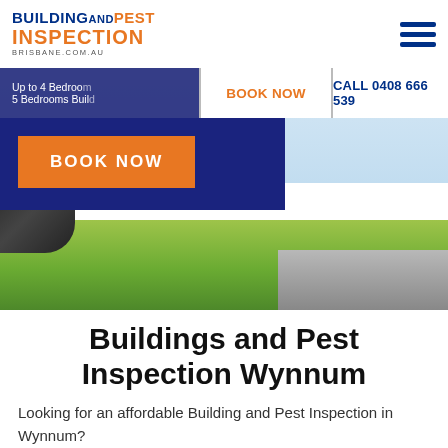BUILDING AND PEST INSPECTION brisbane.com.au
[Figure (screenshot): Hero image of a residential property exterior with grass lawn and driveway, with overlaid navigation bar and blue overlay panel containing a Book Now button]
Buildings and Pest Inspection Wynnum
Looking for an affordable Building and Pest Inspection in Wynnum?